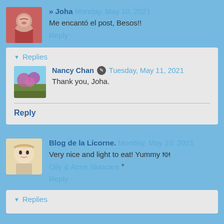[Figure (photo): Avatar photo of Joha - woman with hand near face]
» Joha Monday, May 10, 2021
Me encantó el post, Besos!!
Reply
▼ Replies
[Figure (photo): Avatar photo of Nancy Chan - flowers/garden scene]
Nancy Chan ✎ Tuesday, May 11, 2021
Thank you, Joha.
Reply
[Figure (photo): Avatar of Blog de la Licorne - anime girl character]
Blog de la Licorne. Monday, May 10, 2021
Very nice and light to eat! Yummy 🍽
Oily & Acne Skincare *
Reply
▼ Replies